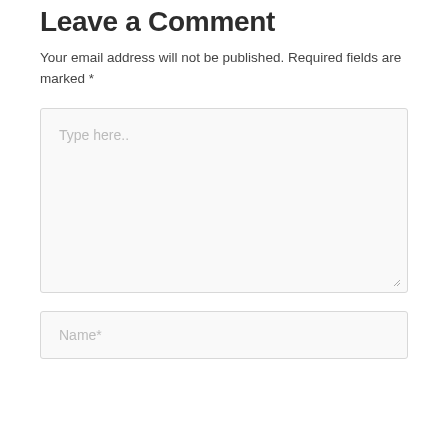Leave a Comment
Your email address will not be published. Required fields are marked *
[Figure (screenshot): Large text area input field with placeholder text 'Type here..' and a resize handle in the bottom-right corner]
[Figure (screenshot): Single-line text input field with placeholder text 'Name*']